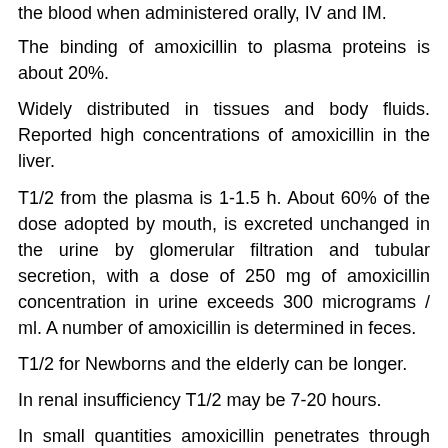the blood when administered orally, IV and IM.
The binding of amoxicillin to plasma proteins is about 20%.
Widely distributed in tissues and body fluids. Reported high concentrations of amoxicillin in the liver.
T1/2 from the plasma is 1-1.5 h. About 60% of the dose adopted by mouth, is excreted unchanged in the urine by glomerular filtration and tubular secretion, with a dose of 250 mg of amoxicillin concentration in urine exceeds 300 micrograms / ml. A number of amoxicillin is determined in feces.
T1/2 for Newborns and the elderly can be longer.
In renal insufficiency T1/2 may be 7-20 hours.
In small quantities amoxicillin penetrates through BBB in inflammation of the pia mater.
amoxicillin is removed by hemodialysis.